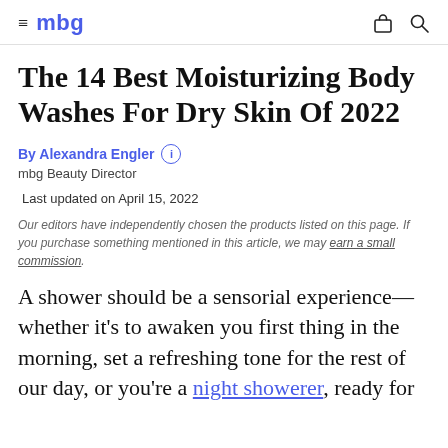mbg
The 14 Best Moisturizing Body Washes For Dry Skin Of 2022
By Alexandra Engler
mbg Beauty Director
Last updated on April 15, 2022
Our editors have independently chosen the products listed on this page. If you purchase something mentioned in this article, we may earn a small commission.
A shower should be a sensorial experience—whether it's to awaken you first thing in the morning, set a refreshing tone for the rest of our day, or you're a night showerer, ready for